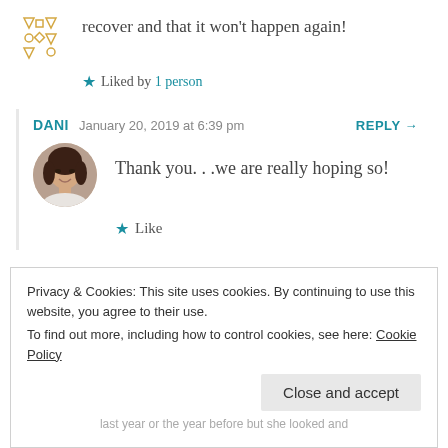recover and that it won't happen again!
★ Liked by 1 person
DANI   January 20, 2019 at 6:39 pm   REPLY →
[Figure (photo): Circular avatar photo of a woman with dark hair, smiling, outdoors]
Thank you. . .we are really hoping so!
★ Like
Privacy & Cookies: This site uses cookies. By continuing to use this website, you agree to their use. To find out more, including how to control cookies, see here: Cookie Policy
Close and accept
last year or the year before but she looked and